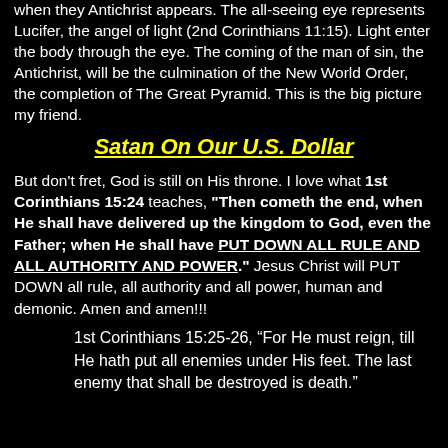when they Antichrist appears. The all-seeing eye represents Lucifer, the angel of light (2nd Corinthians 11:15). Light enter the body through the eye. The coming of the man of sin, the Antichrist, will be the culmination of the New World Order, the completion of The Great Pyramid. This is the big picture my friend.
Satan On Our U.S. Dollar
But don't fret, God is still on His throne. I love what 1st Corinthians 15:24 teaches, "Then cometh the end, when He shall have delivered up the kingdom to God, even the Father; when He shall have PUT DOWN ALL RULE AND ALL AUTHORITY AND POWER." Jesus Christ will PUT DOWN all rule, all authority and all power, human and demonic. Amen and amen!!!
1st Corinthians 15:25-26, “For He must reign, till He hath put all enemies under His feet. The last enemy that shall be destroyed is death.”